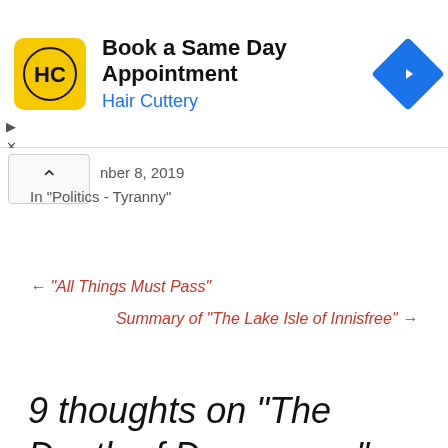[Figure (logo): Hair Cuttery advertisement banner with HC logo, text 'Book a Same Day Appointment' and 'Hair Cuttery', and blue navigation diamond icon]
nber 8, 2019
In "Politics - Tyranny"
← “All Things Must Pass”
Summary of “The Lake Isle of Innisfree” →
9 thoughts on “The Death of Democracy”